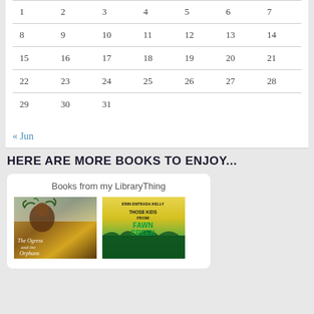| 1 | 2 | 3 | 4 | 5 | 6 | 7 |
| 8 | 9 | 10 | 11 | 12 | 13 | 14 |
| 15 | 16 | 17 | 18 | 19 | 20 | 21 |
| 22 | 23 | 24 | 25 | 26 | 27 | 28 |
| 29 | 30 | 31 |  |  |  |  |
« Jun
HERE ARE MORE BOOKS TO ENJOY...
Books from my LibraryThing
[Figure (illustration): Book cover: The Ogress and the Orphans]
[Figure (illustration): Book cover: Those Kids from Fawn Creek by Erin Entrada Kelly]